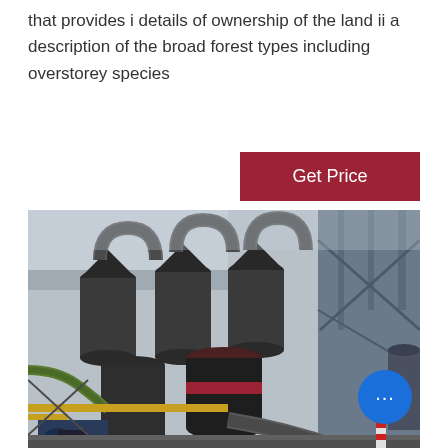that provides i details of ownership of the land ii a description of the broad forest types including overstorey species
[Figure (other): Button labeled 'Get Price' with dark red background and white text]
[Figure (photo): Industrial plant photograph showing large grey cylindrical machinery, pipes, ductwork, and structural steel framework in an outdoor industrial facility. A blue circular chat button with ellipsis icon overlays the bottom-right corner of the image.]